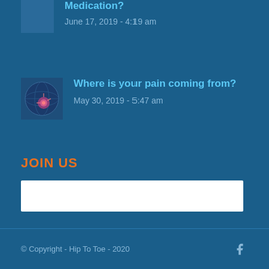Medication?
June 17, 2019 - 4:19 am
[Figure (illustration): Thumbnail image for pain-related article]
Where is your pain coming from?
May 30, 2019 - 5:47 am
JOIN US
© Copyright - Hip To Toe - 2020